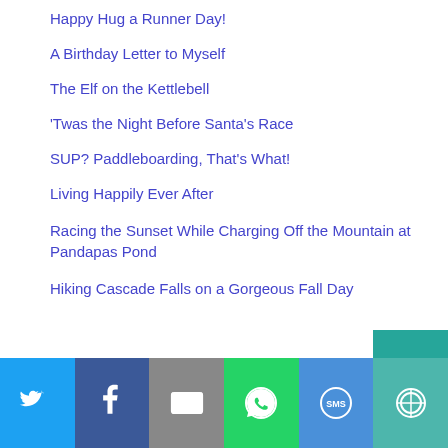Happy Hug a Runner Day!
A Birthday Letter to Myself
The Elf on the Kettlebell
‘Twas the Night Before Santa’s Race
SUP? Paddleboarding, That’s What!
Living Happily Ever After
Racing the Sunset While Charging Off the Mountain at Pandapas Pond
Hiking Cascade Falls on a Gorgeous Fall Day